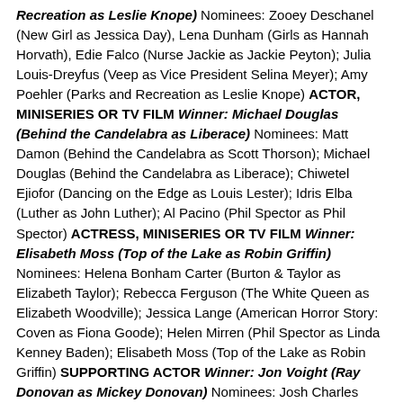Recreation as Leslie Knope) Nominees: Zooey Deschanel (New Girl as Jessica Day), Lena Dunham (Girls as Hannah Horvath), Edie Falco (Nurse Jackie as Jackie Peyton); Julia Louis-Dreyfus (Veep as Vice President Selina Meyer); Amy Poehler (Parks and Recreation as Leslie Knope) ACTOR, MINISERIES OR TV FILM Winner: Michael Douglas (Behind the Candelabra as Liberace) Nominees: Matt Damon (Behind the Candelabra as Scott Thorson); Michael Douglas (Behind the Candelabra as Liberace); Chiwetel Ejiofor (Dancing on the Edge as Louis Lester); Idris Elba (Luther as John Luther); Al Pacino (Phil Spector as Phil Spector) ACTRESS, MINISERIES OR TV FILM Winner: Elisabeth Moss (Top of the Lake as Robin Griffin) Nominees: Helena Bonham Carter (Burton & Taylor as Elizabeth Taylor); Rebecca Ferguson (The White Queen as Elizabeth Woodville); Jessica Lange (American Horror Story: Coven as Fiona Goode); Helen Mirren (Phil Spector as Linda Kenney Baden); Elisabeth Moss (Top of the Lake as Robin Griffin) SUPPORTING ACTOR Winner: Jon Voight (Ray Donovan as Mickey Donovan) Nominees: Josh Charles (The Good Wife as Will Gardner); Rob Lowe (Behind the Candelabra as Dr. Jack Startz); Aaron Paul (Breaking Bad as